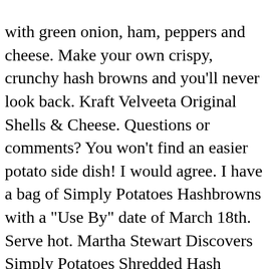with green onion, ham, peppers and cheese. Make your own crispy, crunchy hash browns and you'll never look back. Kraft Velveeta Original Shells & Cheese. Questions or comments? You won't find an easier potato side dish! I would agree. I have a bag of Simply Potatoes Hashbrowns with a "Use By" date of March 18th. Serve hot. Martha Stewart Discovers Simply Potatoes Shredded Hash Browns This product is: Gluten Free. Simply potatoes® cheesy hash browns recipe. 2.5 lb. I thought I had made my chickpea version easy by having the potatoes cook in the sauce, but Julie's method made scalloped potatoes ridiculously easy. Average Rating: (5.0) stars out of 5 stars 3 ratings, based on 3 reviews. Sold by Walmart. https://www.yummly.com/recipes/potato-soup-with-shredded-hash-browns It is sealed, and has been under